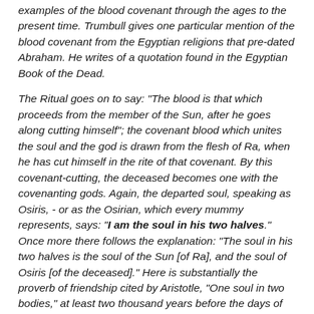examples of the blood covenant through the ages to the present time. Trumbull gives one particular mention of the blood covenant from the Egyptian religions that pre-dated Abraham. He writes of a quotation found in the Egyptian Book of the Dead.
The Ritual goes on to say: "The blood is that which proceeds from the member of the Sun, after he goes along cutting himself"; the covenant blood which unites the soul and the god is drawn from the flesh of Ra, when he has cut himself in the rite of that covenant. By this covenant-cutting, the deceased becomes one with the covenanting gods. Again, the departed soul, speaking as Osiris, - or as the Osirian, which every mummy represents, says: "I am the soul in his two halves." Once more there follows the explanation: "The soul in his two halves is the soul of the Sun [of Ra], and the soul of Osiris [of the deceased]." Here is substantially the proverb of friendship cited by Aristotle, "One soul in two bodies," at least two thousand years before the days of the Greek philosopher.
As this writing pre-dates Abraham, and is from the very